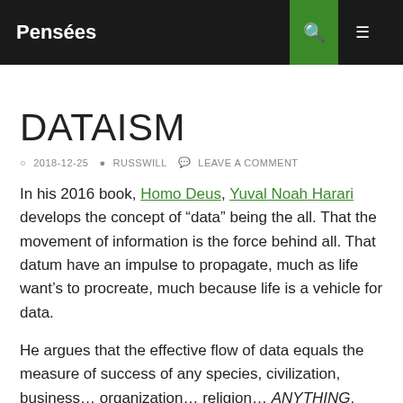Pensées
DATAISM
2018-12-25  RUSSWILL  LEAVE A COMMENT
In his 2016 book, Homo Deus, Yuval Noah Harari develops the concept of "data" being the all. That the movement of information is the force behind all. That datum have an impulse to propagate, much as life want's to procreate, much because life is a vehicle for data.
He argues that the effective flow of data equals the measure of success of any species, civilization, business… organization… religion… ANYTHING.
He argues that can be (is?) a religion in itself. I suppose that a